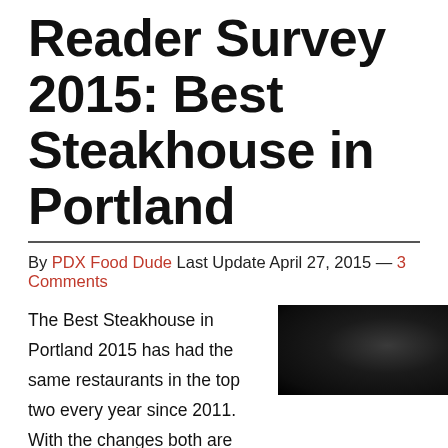Reader Survey 2015: Best Steakhouse in Portland
By PDX Food Dude Last Update April 27, 2015 — 3 Comments
The Best Steakhouse in Portland 2015 has had the same restaurants in the top two every year since 2011. With the changes both are making, I wouldn't be surprised to see the trend to continue.When restaurants remove prices from their websites, it pisses me off. Three of the winning
[Figure (photo): Dark moody food photo, near-black background with subtle circular light highlight suggesting a plate or steak]